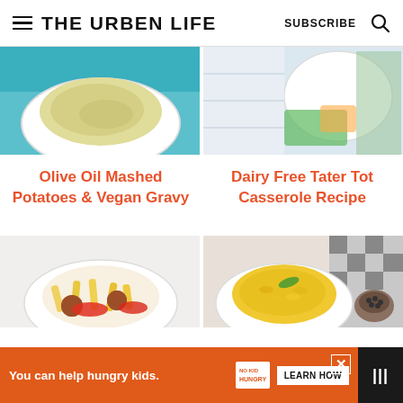THE URBEN LIFE | SUBSCRIBE
[Figure (photo): Mashed potatoes in bowl on teal background]
[Figure (photo): Tater tot casserole with vegetables in bowl]
Olive Oil Mashed Potatoes & Vegan Gravy
Dairy Free Tater Tot Casserole Recipe
[Figure (photo): Pasta with meatballs and red peppers in bowl]
[Figure (photo): Mac and cheese in bowl with black and white cloth]
You can help hungry kids. NO KID HUNGRY LEARN HOW